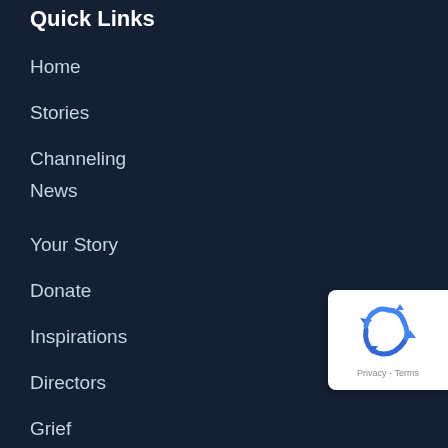Quick Links
Home
Stories
Channeling
News
Your Story
Donate
Inspirations
Directors
Grief
Sister Sites
[Figure (other): reCAPTCHA badge with recycling arrows icon and 'Privacy - Terms' text]